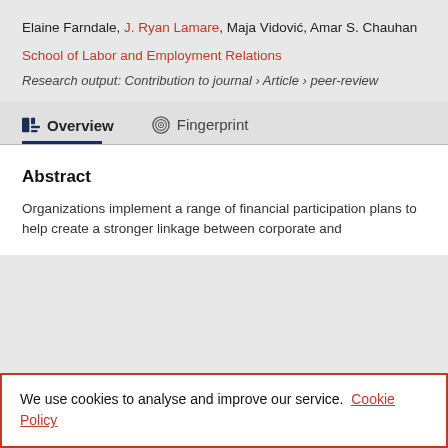Elaine Farndale, J. Ryan Lamare, Maja Vidović, Amar S. Chauhan
School of Labor and Employment Relations
Research output: Contribution to journal › Article › peer-review
Overview
Fingerprint
Abstract
Organizations implement a range of financial participation plans to help create a stronger linkage between corporate and
We use cookies to analyse and improve our service. Cookie Policy